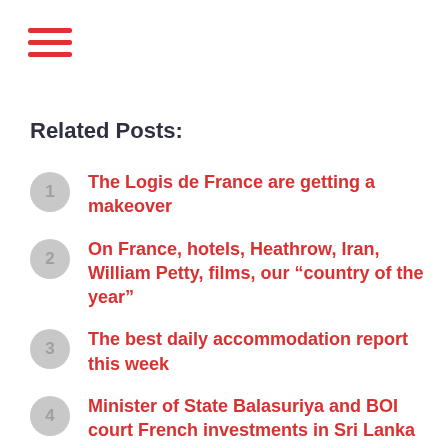[Figure (other): Hamburger menu icon with three horizontal red lines]
Related Posts:
The Logis de France are getting a makeover
On France, hotels, Heathrow, Iran, William Petty, films, our “country of the year”
The best daily accommodation report this week
Minister of State Balasuriya and BOI court French investments in Sri Lanka